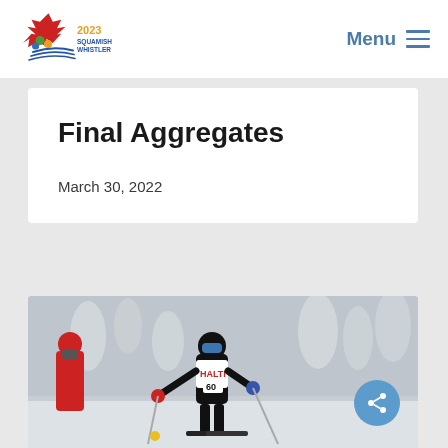[Figure (logo): 2023 Squamish Whistler event logo with maple leaf and ski design]
Menu
Final Aggregates
March 30, 2022
[Figure (photo): Cross-country skier wearing bib number 60 with HALTI jersey racing on a snowy course, with spectators in red jackets visible in the background]